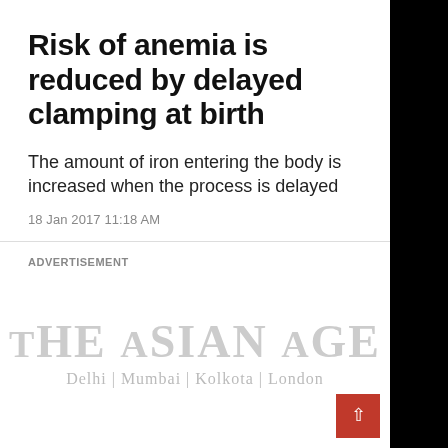Risk of anemia is reduced by delayed clamping at birth
The amount of iron entering the body is increased when the process is delayed
18 Jan 2017 11:18 AM
ADVERTISEMENT
[Figure (logo): The Asian Age newspaper logo with tagline Delhi | Mumbai | Kolkota | London]